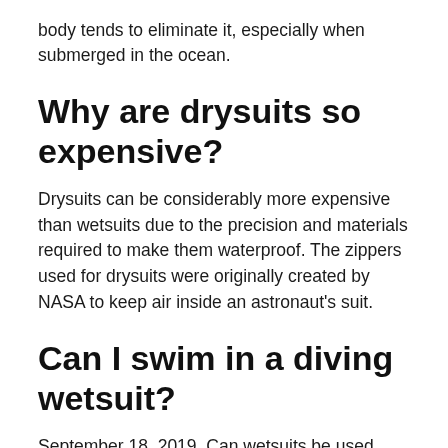body tends to eliminate it, especially when submerged in the ocean.
Why are drysuits so expensive?
Drysuits can be considerably more expensive than wetsuits due to the precision and materials required to make them waterproof. The zippers used for drysuits were originally created by NASA to keep air inside an astronaut's suit.
Can I swim in a diving wetsuit?
September 18, 2019. Can wetsuits be used